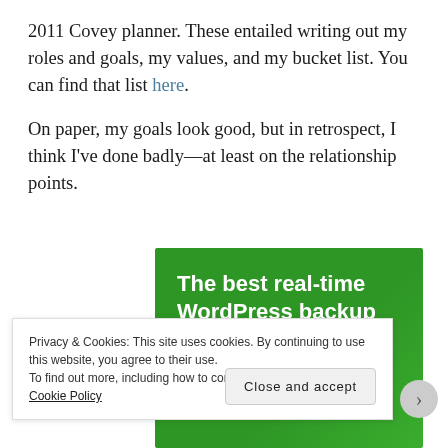2011 Covey planner. These entailed writing out my roles and goals, my values, and my bucket list. You can find that list here.
On paper, my goals look good, but in retrospect, I think I've done badly—at least on the relationship points.
[Figure (other): Green advertisement banner reading 'The best real-time WordPress backup plugin']
Privacy & Cookies: This site uses cookies. By continuing to use this website, you agree to their use.
To find out more, including how to control cookies, see here:
Cookie Policy
Close and accept